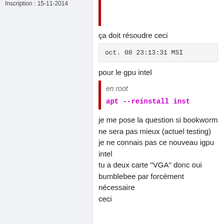Inscription : 15-11-2014
ça doit résoudre ceci
oct. 08 23:13:31 MSI
pour le gpu intel
en root
apt --reinstall inst
je me pose la question si bookworm ne sera pas mieux (actuel testing)
je ne connais pas ce nouveau igpu intel
tu a deux carte "VGA" donc oui bumblebee par forcément nécessaire
ceci